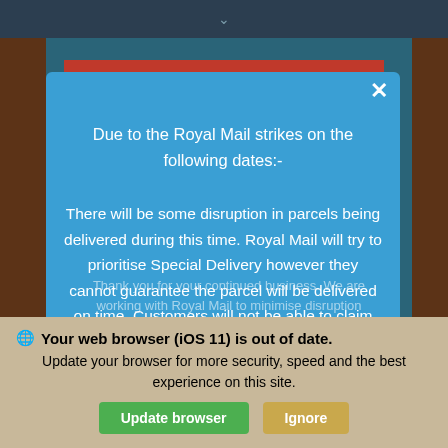[Figure (screenshot): A modal dialog overlay on a website with a blue background. The modal contains a notice about Royal Mail strikes and disruption to parcel delivery. Behind the modal is a dark teal page background with brown side panels. At the bottom is a browser upgrade warning banner for iOS 11.]
Due to the Royal Mail strikes on the following dates:-
There will be some disruption in parcels being delivered during this time. Royal Mail will try to prioritise Special Delivery however they cannot guarantee the parcel will be delivered on time. Customers will not be able to claim for delays to items during this period.
Thank you for your continued business. We are working with Royal Mail to minimise disruption a... as
Your web browser (iOS 11) is out of date. Update your browser for more security, speed and the best experience on this site.